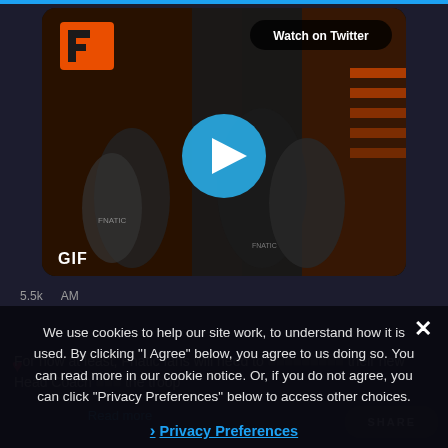[Figure (screenshot): Screenshot of a Twitter/social media page showing an embedded video GIF of Fnatic esports team members hugging/celebrating, with a play button overlay and 'Watch on Twitter' badge in the top right corner. Fnatic orange logo visible in upper left of video. 'GIF' label at bottom left.]
We use cookies to help our site work, to understand how it is used. By clicking “I Agree” below, you agree to us doing so. You can read more in our cookie notice. Or, if you do not agree, you can click "Privacy Preferences" below to access other choices.
› Privacy Preferences
I Agree
For now at least, Fnatic fans will need to ... their new Head Coach ... the troop ...
SHARE